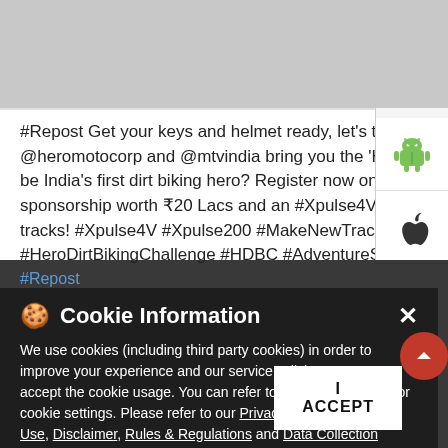[Figure (screenshot): Grey placeholder image area at top of page]
#Repost Get your keys and helmet ready, let's take you for THE ride of your life. @heromotocorp and @mtvindia bring you the 'Hero Dirt Biking Challenge'! Are you ready to be India's first dirt biking hero? Register now on www.hdbc.in and get a chance to win sponsorship worth ₹20 Lacs and an #Xpulse4V Rally Edition. Get ready to make new tracks! #Xpulse4V #Xpulse200 #MakeNewTracks #DirtBiking #HeroMotoCorp #HeroDirtBikingChallenge #HDBC #AdventureSports#Offroading #DirtBikingChallenge
Cookie Information
We use cookies (including third party cookies) in order to improve your experience and our service. Click "I Accept" to accept the cookie usage. You can refer to our Cookie Policy for cookie settings. Please refer to our Privacy Policy, Terms of Use, Disclaimer, Rules & Regulations and Data Collection Contract or more information on personal data usage.
#Repost
#Xpulse4V
#Xpulse200
#HeroMotoCorp
#HeroDirtBikingChallenge
#HDBC